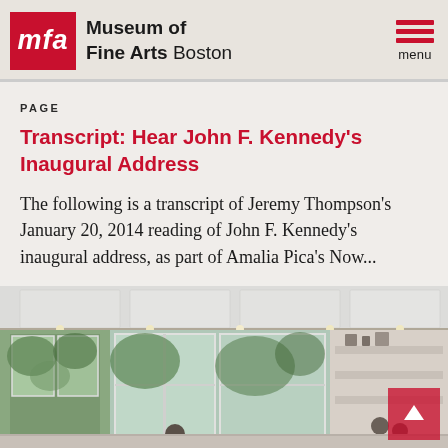Museum of Fine Arts Boston — menu
PAGE
Transcript: Hear John F. Kennedy's Inaugural Address
The following is a transcript of Jeremy Thompson's January 20, 2014 reading of John F. Kennedy's inaugural address, as part of Amalia Pica's Now...
[Figure (photo): Interior of a museum gallery with large windows, track lighting on white ceiling, display cases and shelves with art objects visible]